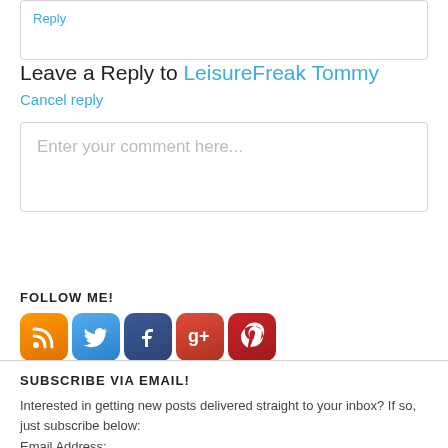Reply
Leave a Reply to LeisureFreak Tommy Cancel reply
Enter your comment here...
FOLLOW ME!
[Figure (other): Social media icons: RSS, Twitter, Facebook, Google+, Pinterest]
SUBSCRIBE VIA EMAIL!
Interested in getting new posts delivered straight to your inbox? If so, just subscribe below:
Email Address: